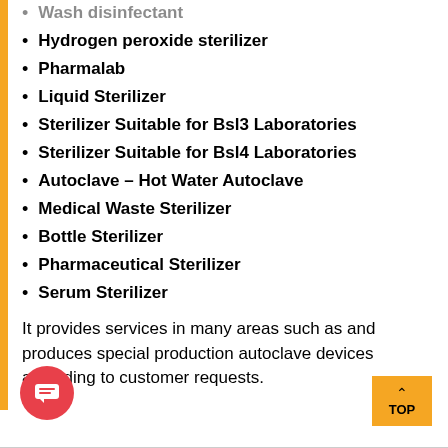Wash disinfectant
Hydrogen peroxide sterilizer
Pharmalab
Liquid Sterilizer
Sterilizer Suitable for Bsl3 Laboratories
Sterilizer Suitable for Bsl4 Laboratories
Autoclave – Hot Water Autoclave
Medical Waste Sterilizer
Bottle Sterilizer
Pharmaceutical Sterilizer
Serum Sterilizer
It provides services in many areas such as and produces special production autoclave devices according to customer requests.